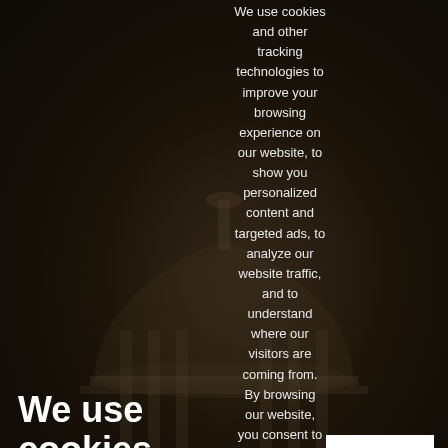We use cookies
We use cookies and other tracking technologies to improve your browsing experience on our website, to show you personalized content and targeted ads, to analyze our website traffic, and to understand where our visitors are coming from. By browsing our website, you consent to our use of cookies and other tracking technologies.
I agree